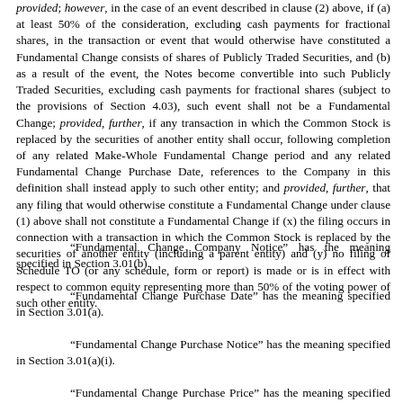provided; however, in the case of an event described in clause (2) above, if (a) at least 50% of the consideration, excluding cash payments for fractional shares, in the transaction or event that would otherwise have constituted a Fundamental Change consists of shares of Publicly Traded Securities, and (b) as a result of the event, the Notes become convertible into such Publicly Traded Securities, excluding cash payments for fractional shares (subject to the provisions of Section 4.03), such event shall not be a Fundamental Change; provided, further, if any transaction in which the Common Stock is replaced by the securities of another entity shall occur, following completion of any related Make-Whole Fundamental Change period and any related Fundamental Change Purchase Date, references to the Company in this definition shall instead apply to such other entity; and provided, further, that any filing that would otherwise constitute a Fundamental Change under clause (1) above shall not constitute a Fundamental Change if (x) the filing occurs in connection with a transaction in which the Common Stock is replaced by the securities of another entity (including a parent entity) and (y) no filing of Schedule TO (or any schedule, form or report) is made or is in effect with respect to common equity representing more than 50% of the voting power of such other entity.
“Fundamental Change Company Notice” has the meaning specified in Section 3.01(b).
“Fundamental Change Purchase Date” has the meaning specified in Section 3.01(a).
“Fundamental Change Purchase Notice” has the meaning specified in Section 3.01(a)(i).
“Fundamental Change Purchase Price” has the meaning specified in